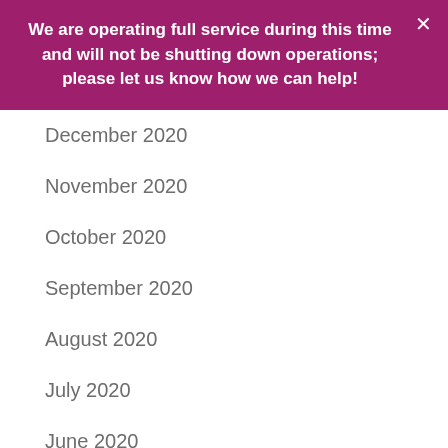We are operating full service during this time and will not be shutting down operations; please let us know how we can help!
December 2020
November 2020
October 2020
September 2020
August 2020
July 2020
June 2020
May 2020
April 2020